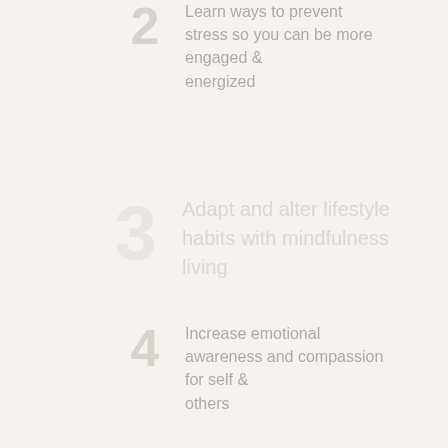Learn ways to prevent stress so you can be more engaged & energized
Adapt and alter lifestyle habits with mindfulness living
Increase emotional awareness and compassion for self & others